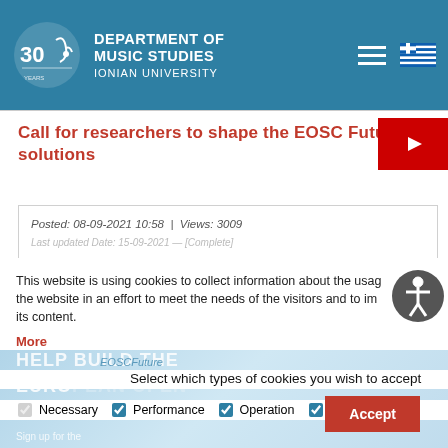DEPARTMENT OF MUSIC STUDIES
IONIAN UNIVERSITY
Call for researchers to shape the EOSC Future solutions
Posted: 08-09-2021 10:58 | Views: 3009
This website is using cookies to collect information about the usage of the website in an effort to meet the needs of the visitors and to improve its content.
More
Select which types of cookies you wish to accept
Necessary  Performance  Operation  Third Party
Accept